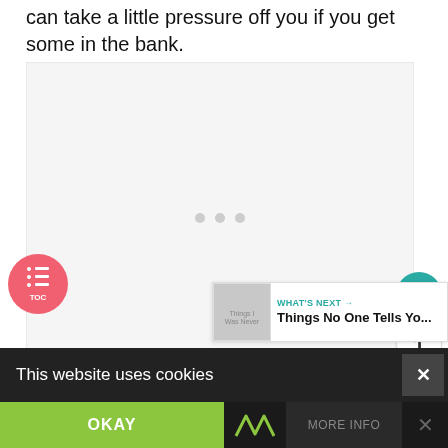can take a little pressure off you if you get some in the bank.
[Figure (other): Large blank/white content area with three gray dots in center, part of a slideshow or image carousel]
[Figure (other): Teal circular heart/like button with white heart icon]
1
[Figure (other): White circular share button with share icon]
[Figure (other): Pink circular TOC (table of contents) button with list icon and label TOC]
[Figure (other): WHAT'S NEXT banner with thumbnail and title 'Things No One Tells Yo...']
This website uses cookies
OKAY
ViralKindness
MORE INFO